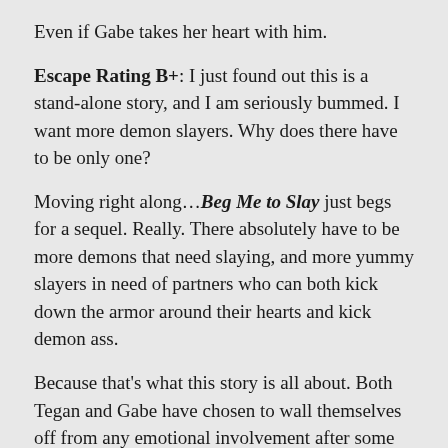Even if Gabe takes her heart with him.
Escape Rating B+: I just found out this is a stand-alone story, and I am seriously bummed. I want more demon slayers. Why does there have to be only one?
Moving right along…Beg Me to Slay just begs for a sequel. Really. There absolutely have to be more demons that need slaying, and more yummy slayers in need of partners who can both kick down the armor around their hearts and kick demon ass.
Because that's what this story is all about. Both Tegan and Gabe have chosen to wall themselves off from any emotional involvement after some serious emotional trauma. It makes sense.
But they are perfect for each other. Watching them